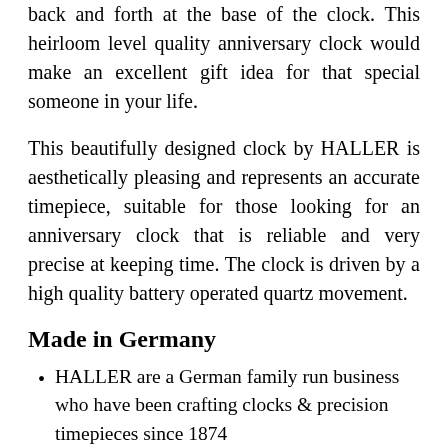back and forth at the base of the clock. This heirloom level quality anniversary clock would make an excellent gift idea for that special someone in your life.
This beautifully designed clock by HALLER is aesthetically pleasing and represents an accurate timepiece, suitable for those looking for an anniversary clock that is reliable and very precise at keeping time. The clock is driven by a high quality battery operated quartz movement.
Made in Germany
HALLER are a German family run business who have been crafting clocks & precision timepieces since 1874
The company has remained family-owned for